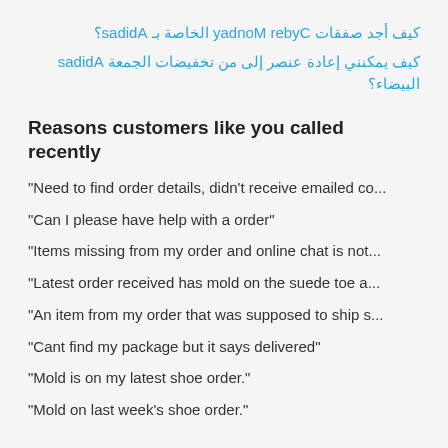كيف أجد صفقات Cyber Monday الخاصة بـ Adidas؟
كيف يمكنني إعادة عنصر إلى من تخفيضات الجمعة Adidas البيضاء؟
Reasons customers like you called recently
"Need to find order details, didn't receive emailed co...
"Can I please have help with a order"
"Items missing from my order and online chat is not...
"Latest order received has mold on the suede toe a...
"An item from my order that was supposed to ship s...
"Cant find my package but it says delivered"
"Mold is on my latest shoe order."
"Mold on last week's shoe order."